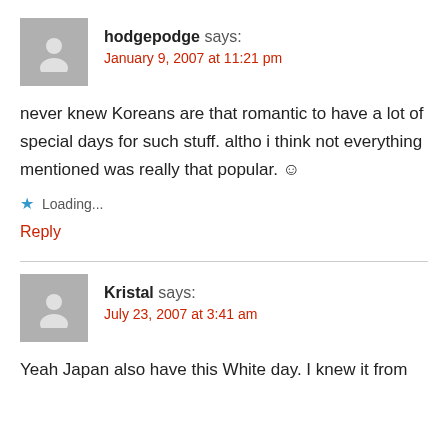hodgepodge says:
January 9, 2007 at 11:21 pm
never knew Koreans are that romantic to have a lot of special days for such stuff. altho i think not everything mentioned was really that popular. ☺
★ Loading...
Reply
Kristal says:
July 23, 2007 at 3:41 am
Yeah Japan also have this White day. I knew it from